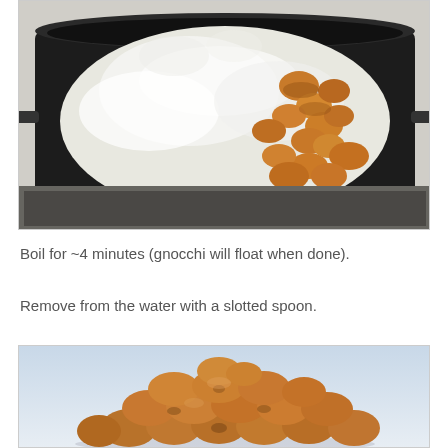[Figure (photo): A black pot on a stove with gnocchi boiling in vigorously foaming white water; orange-colored gnocchi pieces visible through the steam and foam.]
Boil for ~4 minutes (gnocchi will float when done).
Remove from the water with a slotted spoon.
[Figure (photo): A pile of cooked golden-brown gnocchi pieces on a light blue-white surface, removed from the water.]